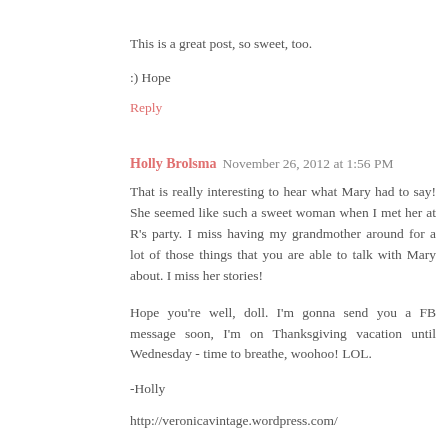This is a great post, so sweet, too.
:) Hope
Reply
Holly Brolsma November 26, 2012 at 1:56 PM
That is really interesting to hear what Mary had to say! She seemed like such a sweet woman when I met her at R's party. I miss having my grandmother around for a lot of those things that you are able to talk with Mary about. I miss her stories!
Hope you're well, doll. I'm gonna send you a FB message soon, I'm on Thanksgiving vacation until Wednesday - time to breathe, woohoo! LOL.
-Holly
http://veronicavintage.wordpress.com/